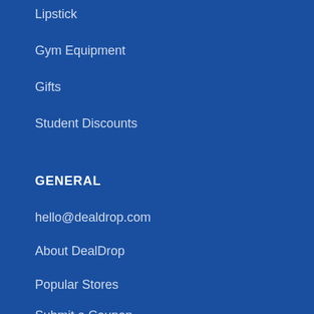Lipstick
Gym Equipment
Gifts
Student Discounts
GENERAL
hello@dealdrop.com
About DealDrop
Popular Stores
Submit a Coupon
DealDrop Research
Privacy Policy
Terms